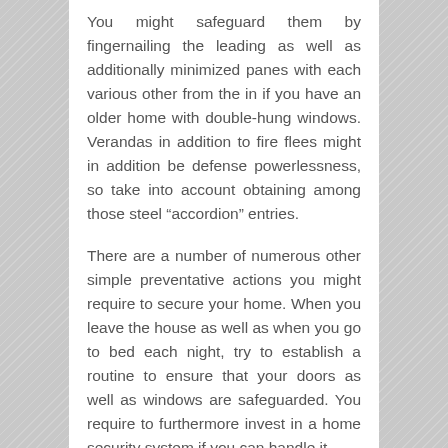You might safeguard them by fingernailing the leading as well as additionally minimized panes with each various other from the in if you have an older home with double-hung windows. Verandas in addition to fire flees might in addition be defense powerlessness, so take into account obtaining among those steel “accordion” entries.
There are a number of numerous other simple preventative actions you might require to secure your home. When you leave the house as well as when you go to bed each night, try to establish a routine to ensure that your doors as well as windows are safeguarded. You require to furthermore invest in a home security system if you can handle it.
Every property owner calls for to be